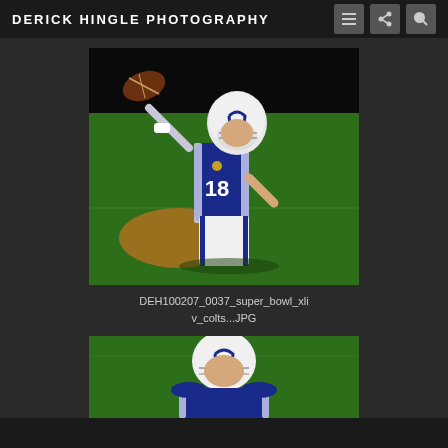DERICK HINGLE PHOTOGRAPHY
[Figure (photo): Football player wearing Indianapolis Colts #18 jersey and white helmet throwing a pass during Super Bowl XLIV. Player is in mid-throw action on a green field.]
DEH100207_0037_super_bowl_xliv_colts...JPG
[Figure (photo): Second photo of Indianapolis Colts player wearing white helmet, partially cropped at bottom of page.]